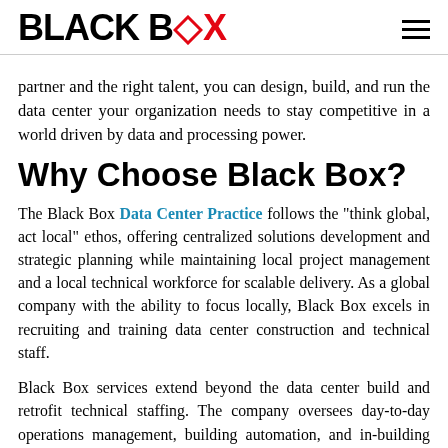BLACK BOX
partner and the right talent, you can design, build, and run the data center your organization needs to stay competitive in a world driven by data and processing power.
Why Choose Black Box?
The Black Box Data Center Practice follows the "think global, act local" ethos, offering centralized solutions development and strategic planning while maintaining local project management and a local technical workforce for scalable delivery. As a global company with the ability to focus locally, Black Box excels in recruiting and training data center construction and technical staff.
Black Box services extend beyond the data center build and retrofit technical staffing. The company oversees day-to-day operations management, building automation, and in-building wireless networking through a single project management